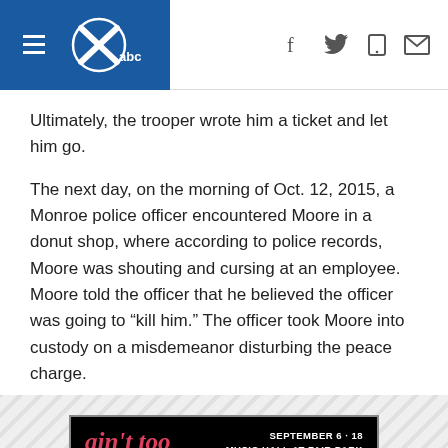WFAA ABC - Navigation header with hamburger menu, logo, and social icons
Ultimately, the trooper wrote him a ticket and let him go.
The next day, on the morning of Oct. 12, 2015, a Monroe police officer encountered Moore in a donut shop, where according to police records, Moore was shouting and cursing at an employee. Moore told the officer that he believed the officer was going to “kill him.” The officer took Moore into custody on a misdemeanor disturbing the peace charge.
[Figure (infographic): Advertisement for 'Ain't Too Proud - The Life and Times of The Temptations' musical. September 6-18, Music Hall at Fair Park. Get Tickets button in pink.]
Monroe had a contract with LaSalle to house their prisoners,